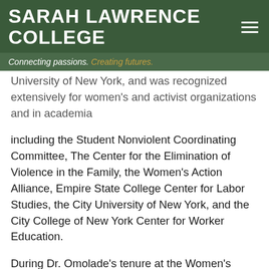SARAH LAWRENCE COLLEGE — Connecting passions. Creating futures.
University of New York, and was recognized extensively for women's and activist organizations and in academia including the Student Nonviolent Coordinating Committee, The Center for the Elimination of Violence in the Family, the Women's Action Alliance, Empire State College Center for Labor Studies, the City University of New York, and the City College of New York Center for Worker Education.
During Dr. Omolade's tenure at the Women's Action Alliance, Sarah Lawrence College hosted the Summer Institute in Women's History for Leaders of Women's Organizations in 1979. The Institute was sponsored by the Women's Action Alliance and worked in cooperation with the Smithsonian Institution and the Women's